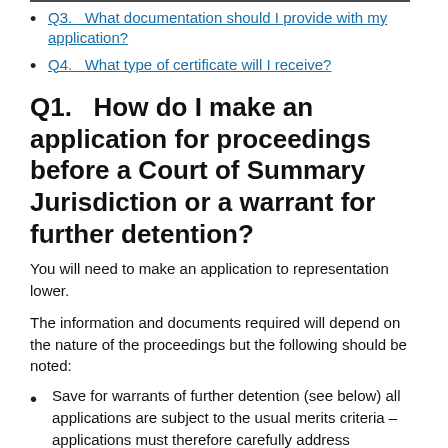Q3.   What documentation should I provide with my application?
Q4.   What type of certificate will I receive?
Q1.   How do I make an application for proceedings before a Court of Summary Jurisdiction or a warrant for further detention?
You will need to make an application to representation lower.
The information and documents required will depend on the nature of the proceedings but the following should be noted:
Save for warrants of further detention (see below) all applications are subject to the usual merits criteria – applications must therefore carefully address prospects of success and cost benefit as described in the Part B guidance.